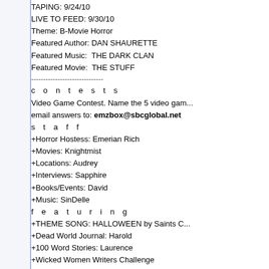TAPING: 9/24/10
LIVE TO FEED: 9/30/10
Theme: B-Movie Horror
Featured Author: DAN SHAURETTE
Featured Music:  THE DARK CLAN
Featured Movie:  THE STUFF
------------------------------
c o n t e s t s
Video Game Contest. Name the 5 video ga... email answers to: emzbox@sbcglobal.net
s t a f f
+Horror Hostess: Emerian Rich
+Movies: Knightmist
+Locations: Audrey
+Interviews: Sapphire
+Books/Events: David
+Music: SinDelle
f e a t u r i n g
+THEME SONG: HALLOWEEN by Saints C...
+Dead World Journal: Harold
+100 Word Stories: Laurence
+Wicked Women Writers Challenge
c o n t a c t
http://www.horroraddicts.net
forum: horroraddicts.yuku.com
email: emzbox@sbcglobal.net
t a p i n g . s t u d i o
Quills, A Place For Writers on Second Life, 2...
http://slurl.com/secondlife/Book%20Islan...
Direct download: horroraddicts-249110-09-16-2010_...
Category: Podcast -- posted at: 9:40pm EDT
- - - - - - - - - - - - - - - - - - - - - - - - - - - - - -
Thu, 8 July 2010
Horror Addicts 045,